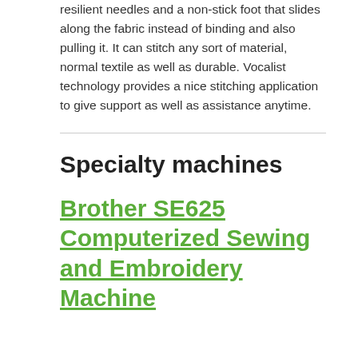resilient needles and a non-stick foot that slides along the fabric instead of binding and also pulling it. It can stitch any sort of material, normal textile as well as durable. Vocalist technology provides a nice stitching application to give support as well as assistance anytime.
Specialty machines
Brother SE625 Computerized Sewing and Embroidery Machine